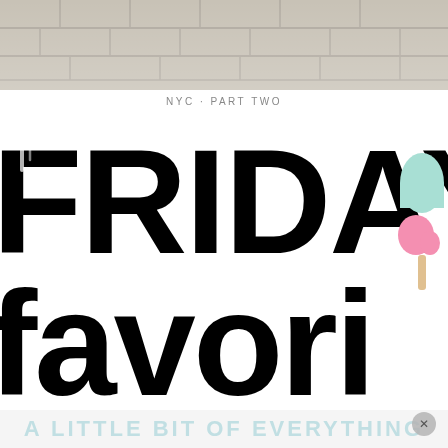[Figure (photo): Top portion showing a stone/tile pavement or plaza in gray and beige tones — cropped photo of outdoor paving]
NYC · PART TWO
[Figure (illustration): Large decorative text illustration with the words 'FRIDAY' and 'favori' in bold chunky black hand-lettered style, with a pink and mint green ice cream or popsicle graphic on the right side. The text is partially cropped on the left and right edges.]
A LITTLE BIT OF EVERYTHING
[Figure (other): Close button (X) circle in the bottom right corner]